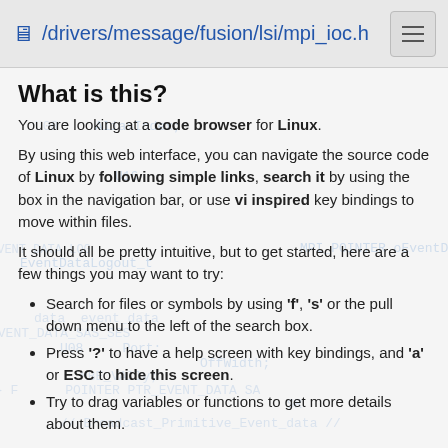/drivers/message/fusion/lsi/mpi_ioc.h
What is this?
You are looking at a code browser for Linux.
By using this web interface, you can navigate the source code of Linux by following simple links, search it by using the box in the navigation bar, or use vi inspired key bindings to move within files.
It should all be pretty intuitive, but to get started, here are a few things you may want to try:
Search for files or symbols by using 'f', 's' or the pull down menu to the left of the search box.
Press '?' to have a help screen with key bindings, and 'a' or ESC to hide this screen.
Try to drag variables or functions to get more details about them.
This site was generated via sbexr, which uses LLVM and clang to parse and index the code.
sbexr is free software (as in "free speech"), under heavy development, sbexr@bexr.org and the Linux kernel source code